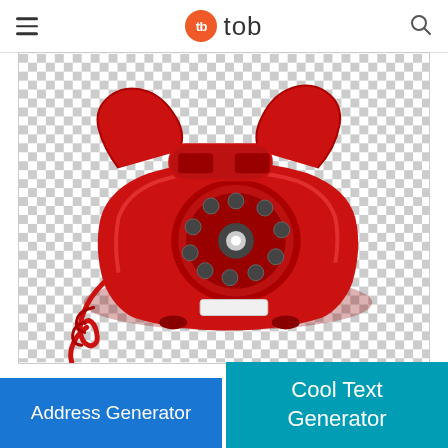tb tob
[Figure (photo): A red retro rotary telephone with a coiled cord, displayed on a transparent (checkered) background]
Address Generator
Cool Text Generator
Png Resolution: 1592x1194